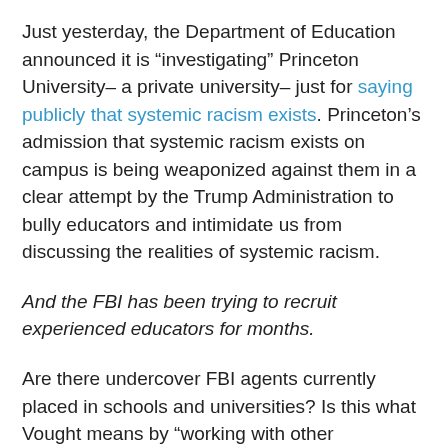Just yesterday, the Department of Education announced it is “investigating” Princeton University– a private university– just for saying publicly that systemic racism exists. Princeton’s admission that systemic racism exists on campus is being weaponized against them in a clear attempt by the Trump Administration to bully educators and intimidate us from discussing the realities of systemic racism.
And the FBI has been trying to recruit experienced educators for months.
Are there undercover FBI agents currently placed in schools and universities? Is this what Vought means by “working with other agencies”– like the FBI– to “identify un-American trainings”?